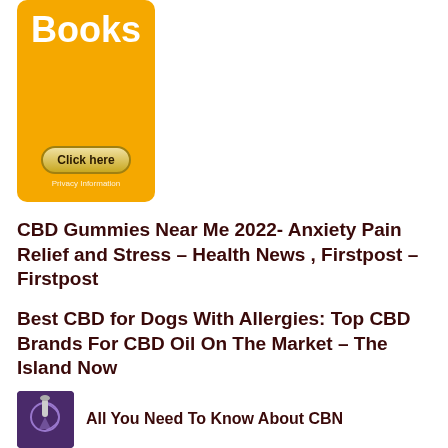[Figure (illustration): Orange advertisement box with 'Books' text in white bold font, a 'Click here' button with gold gradient styling, and 'Privacy Information' text below]
CBD Gummies Near Me 2022- Anxiety Pain Relief and Stress – Health News , Firstpost – Firstpost
Best CBD for Dogs With Allergies: Top CBD Brands For CBD Oil On The Market – The Island Now
[Figure (photo): Small thumbnail image with purple background showing a dropper bottle with circular arrow design]
All You Need To Know About CBN